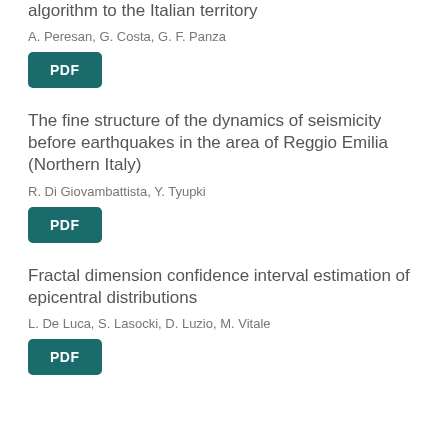algorithm to the Italian territory
A. Peresan, G. Costa, G. F. Panza
PDF
The fine structure of the dynamics of seismicity before earthquakes in the area of Reggio Emilia (Northern Italy)
R. Di Giovambattista, Y. Tyupki
PDF
Fractal dimension confidence interval estimation of epicentral distributions
L. De Luca, S. Lasocki, D. Luzio, M. Vitale
PDF